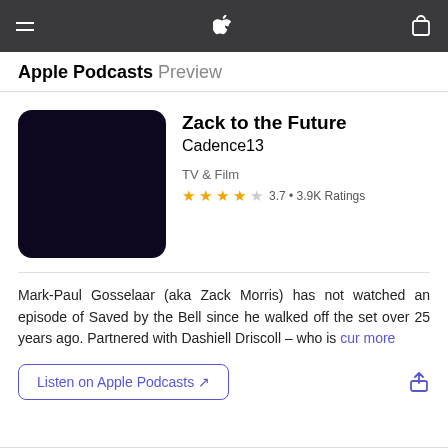Apple Podcasts Preview
Zack to the Future
Cadence13
TV & Film
3.7 • 3.9K Ratings
Mark-Paul Gosselaar (aka Zack Morris) has not watched an episode of Saved by the Bell since he walked off the set over 25 years ago. Partnered with Dashiell Driscoll – who is cur more
Listen on Apple Podcasts ↗